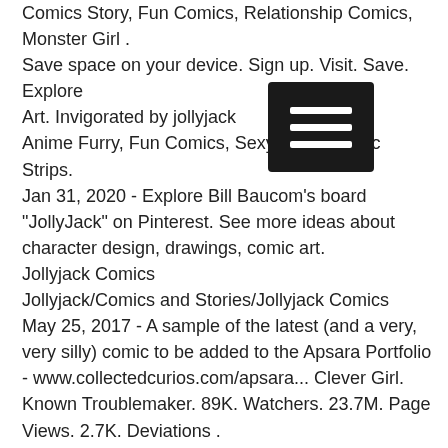Comics Story, Fun Comics, Relationship Comics, Monster Girl . Save space on your device. Sign up. Visit. Save. Explore Art. Invigorated by jollyjack on deviantArt Anime Furry, Fun Comics, Sexy Body, Comic Strips. Jan 31, 2020 - Explore Bill Baucom's board "JollyJack" on Pinterest. See more ideas about character design, drawings, comic art. Jollyjack Comics Jollyjack/Comics and Stories/Jollyjack Comics May 25, 2017 - A sample of the latest (and a very, very silly) comic to be added to the Apsara Portfolio - www.collectedcurios.com/apsara... Clever Girl. Known Troublemaker. 89K. Watchers. 23.7M. Page Views. 2.7K. Deviations . May 8, 2015 - Check out jollyjack's art on DeviantArt. Browse the user profile and get